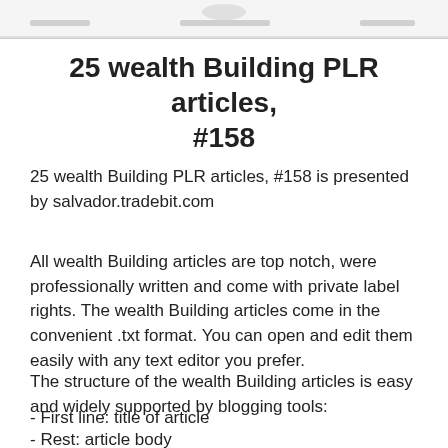[Figure (other): Header image area with decorative graphic element at top of page]
25 wealth Building PLR articles, #158
25 wealth Building PLR articles, #158 is presented by salvador.tradebit.com
All wealth Building articles are top notch, were professionally written and come with private label rights. The wealth Building articles come in the convenient .txt format. You can open and edit them easily with any text editor you prefer.
The structure of the wealth Building articles is easy and widely supported by blogging tools:
- First line: title of article
- Rest: article body